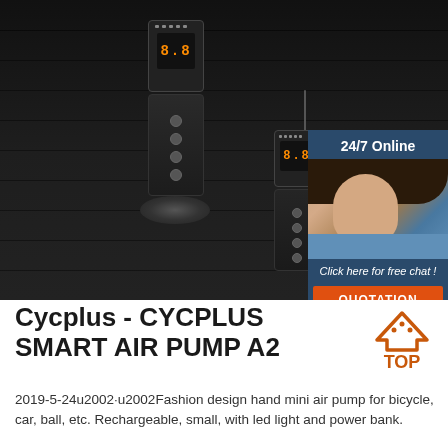[Figure (photo): Product photo of Cycplus Smart Air Pump A2 devices on dark background, with two black air pump units shown, one taller standing on a cylindrical base and one smaller unit with cable. A customer service chat panel overlay is on the right showing '24/7 Online', a woman with headset, 'Click here for free chat!' and 'QUOTATION' button.]
Cycplus - CYCPLUS SMART AIR PUMP A2
2019-5-24u2002·u2002Fashion design hand mini air pump for bicycle, car, ball, etc. Rechargeable, small, with led light and power bank.